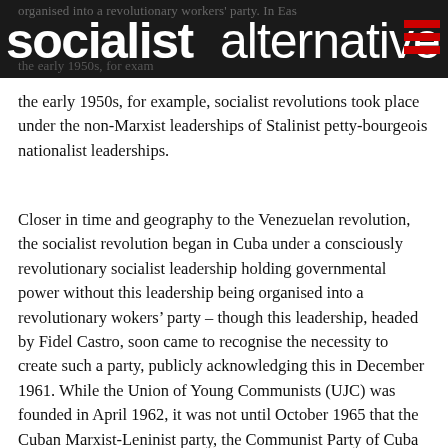socialistalternative
the early 1950s, for example, socialist revolutions took place under the non-Marxist leaderships of Stalinist petty-bourgeois nationalist leaderships.
Closer in time and geography to the Venezuelan revolution, the socialist revolution began in Cuba under a consciously revolutionary socialist leadership holding governmental power without this leadership being organised into a revolutionary wokers’ party – though this leadership, headed by Fidel Castro, soon came to recognise the necessity to create such a party, publicly acknowledging this in December 1961. While the Union of Young Communists (UJC) was founded in April 1962, it was not until October 1965 that the Cuban Marxist-Leninist party, the Communist Party of Cuba (PCC), was founded, with 50,000 full and candidate members.